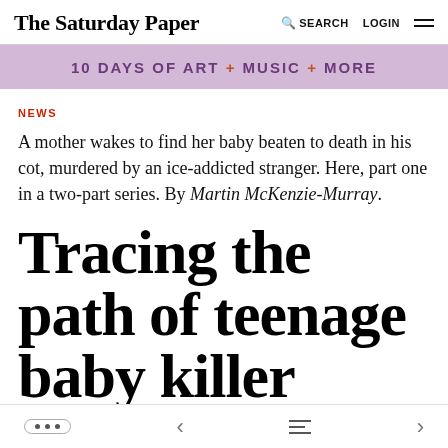The Saturday Paper  SEARCH  LOGIN
[Figure (other): Purple/lavender banner advertisement reading '10 DAYS OF ART + MUSIC + MORE']
NEWS
A mother wakes to find her baby beaten to death in his cot, murdered by an ice-addicted stranger. Here, part one in a two-part series. By Martin McKenzie-Murray.
Tracing the path of teenage baby killer
... < menu >